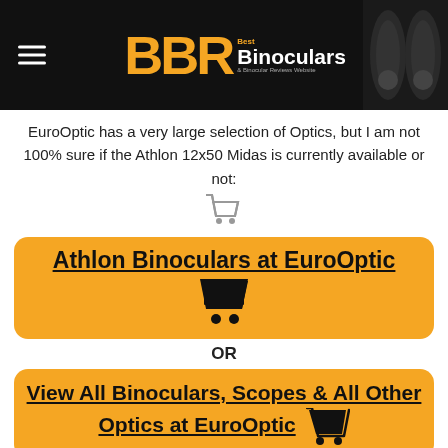[Figure (screenshot): BBR Best Binoculars website header with black background, hamburger menu icon on left, orange BBR logo in center, and binocular image on right]
EuroOptic has a very large selection of Optics, but I am not 100% sure if the Athlon 12x50 Midas is currently available or not:
[Figure (illustration): Small gray shopping cart icon]
Athlon Binoculars at EuroOptic
[Figure (illustration): Large black shopping cart icon]
OR
View All Binoculars, Scopes & All Other Optics at EuroOptic